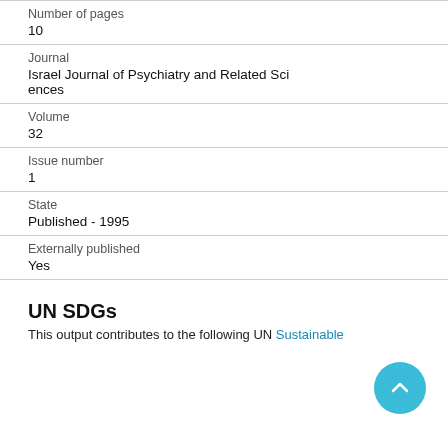Number of pages
10
Journal
Israel Journal of Psychiatry and Related Sciences
Volume
32
Issue number
1
State
Published - 1995
Externally published
Yes
UN SDGs
This output contributes to the following UN Sustainable